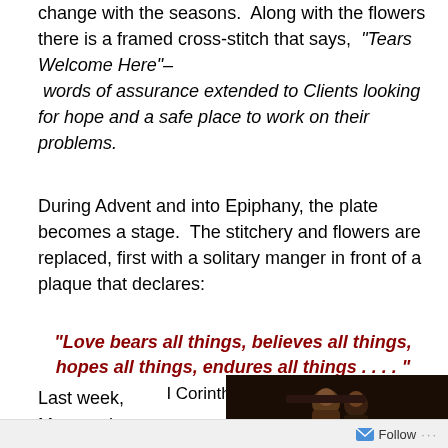change with the seasons.  Along with the flowers there is a framed cross-stitch that says,  "Tears Welcome Here"– words of assurance extended to Clients looking for hope and a safe place to work on their problems.
During Advent and into Epiphany, the plate becomes a stage.  The stitchery and flowers are replaced, first with a solitary manger in front of a plaque that declares:
"Love bears all things, believes all things, hopes all things, endures all things . . . ."
I Corinthians 13:7
Last week, Mary and Joseph
[Figure (photo): Dark photograph showing figurines of Mary and Joseph, nativity scene figures against a dark background]
Follow